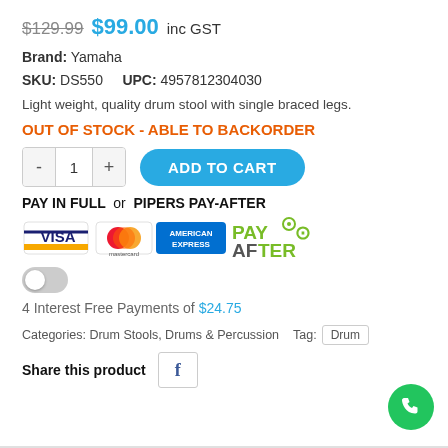$129.99 $99.00 inc GST
Brand: Yamaha
SKU: DS550   UPC: 4957812304030
Light weight, quality drum stool with single braced legs.
OUT OF STOCK - ABLE TO BACKORDER
ADD TO CART
PAY IN FULL or PIPERS PAY-AFTER
[Figure (logo): Payment method logos: Visa, Mastercard, American Express, PayAfter]
4 Interest Free Payments of $24.75
Categories: Drum Stools, Drums & Percussion  Tag: Drum
Share this product